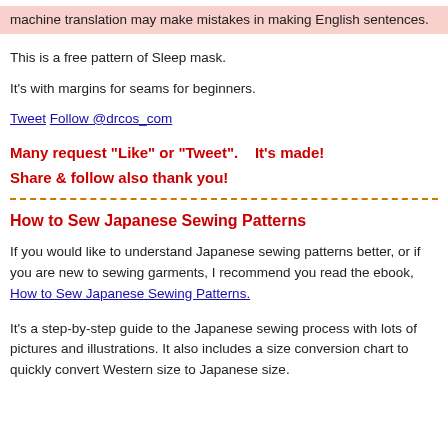machine translation may make mistakes in making English sentences.
This is a free pattern of Sleep mask.
It's with margins for seams for beginners.
Tweet Follow @drcos_com
Many request "Like" or "Tweet".    It's made!
Share & follow also thank you!
How to Sew Japanese Sewing Patterns
If you would like to understand Japanese sewing patterns better, or if you are new to sewing garments, I recommend you read the ebook, How to Sew Japanese Sewing Patterns.
It's a step-by-step guide to the Japanese sewing process with lots of pictures and illustrations. It also includes a size conversion chart to quickly convert Western size to Japanese size.